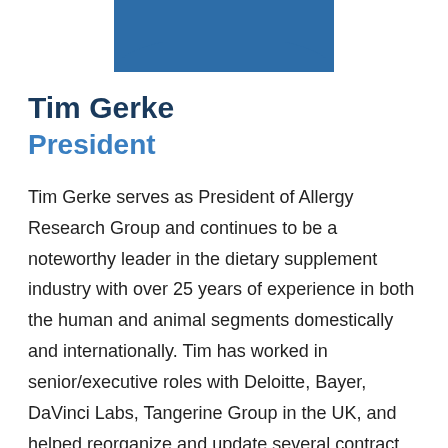[Figure (photo): Profile photo of Tim Gerke with blue rounded background at top of page]
Tim Gerke
President
Tim Gerke serves as President of Allergy Research Group and continues to be a noteworthy leader in the dietary supplement industry with over 25 years of experience in both the human and animal segments domestically and internationally. Tim has worked in senior/executive roles with Deloitte, Bayer, DaVinci Labs, Tangerine Group in the UK, and helped reorganize and update several contract manufacturers for both pharmaceutical and